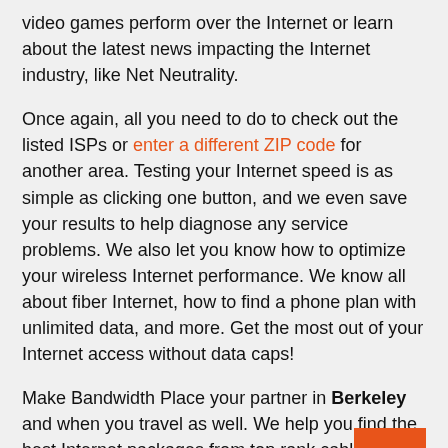video games perform over the Internet or learn about the latest news impacting the Internet industry, like Net Neutrality.
Once again, all you need to do to check out the listed ISPs or enter a different ZIP code for another area. Testing your Internet speed is as simple as clicking one button, and we even save your results to help diagnose any service problems. We also let you know how to optimize your wireless Internet performance. We know all about fiber Internet, how to find a phone plan with unlimited data, and more. Get the most out of your Internet access without data caps!
Make Bandwidth Place your partner in Berkeley and when you travel as well. We help you find the best Internet packages from top rank cable providers and more.
[Figure (other): Orange square button with white upward arrow icon (back to top button)]